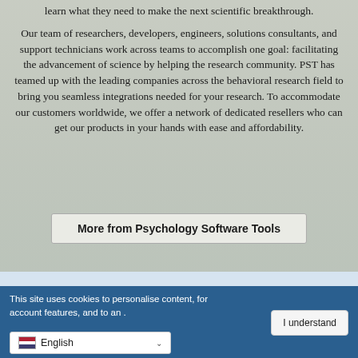learn what they need to make the next scientific breakthrough.
Our team of researchers, developers, engineers, solutions consultants, and support technicians work across teams to accomplish one goal: facilitating the advancement of science by helping the research community. PST has teamed up with the leading companies across the behavioral research field to bring you seamless integrations needed for your research. To accommodate our customers worldwide, we offer a network of dedicated resellers who can get our products in your hands with ease and affordability.
More from Psychology Software Tools
This site uses cookies to personalise content, for account features, and to an...
I understand
English